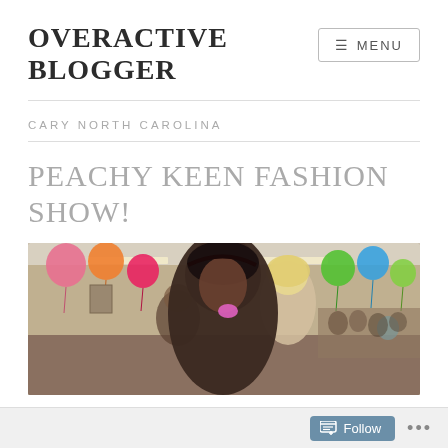OVERACTIVE BLOGGER
CARY NORTH CAROLINA
PEACHY KEEN FASHION SHOW!
[Figure (photo): Two young women at a fashion show event with colorful balloons (pink, orange, green) hanging from the ceiling. One woman with dark hair is in the foreground making a pose, the other is blonde in the background. Indoor event space with fluorescent lighting.]
Follow ...